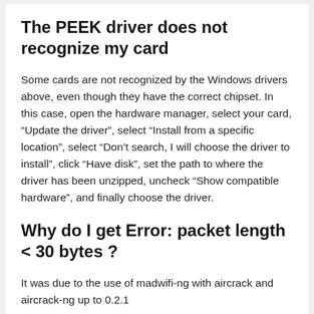The PEEK driver does not recognize my card
Some cards are not recognized by the Windows drivers above, even though they have the correct chipset. In this case, open the hardware manager, select your card, “Update the driver”, select “Install from a specific location”, select “Don’t search, I will choose the driver to install”, click “Have disk”, set the path to where the driver has been unzipped, uncheck “Show compatible hardware”, and finally choose the driver.
Why do I get Error: packet length < 30 bytes ?
It was due to the use of madwifi-ng with aircrack and aircrack-ng up to 0.2.1
Why do I have bad speeds when i’m